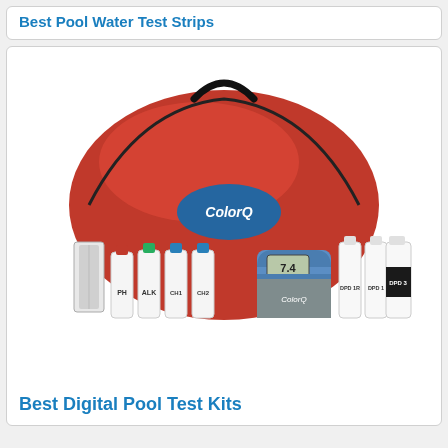Best Pool Water Test Strips
[Figure (photo): ColorQ digital pool test kit with red carrying case, multiple reagent bottles labeled PH, ALK, CH1, CH2, DPD1, DPD1, DPD3, and a blue digital photometer device with LCD display showing '7.4']
Best Digital Pool Test Kits